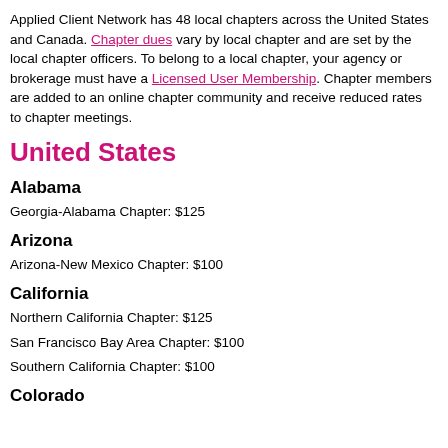Applied Client Network has 48 local chapters across the United States and Canada. Chapter dues vary by local chapter and are set by the local chapter officers. To belong to a local chapter, your agency or brokerage must have a Licensed User Membership. Chapter members are added to an online chapter community and receive reduced rates to chapter meetings.
United States
Alabama
Georgia-Alabama Chapter: $125
Arizona
Arizona-New Mexico Chapter: $100
California
Northern California Chapter: $125
San Francisco Bay Area Chapter: $100
Southern California Chapter: $100
Colorado